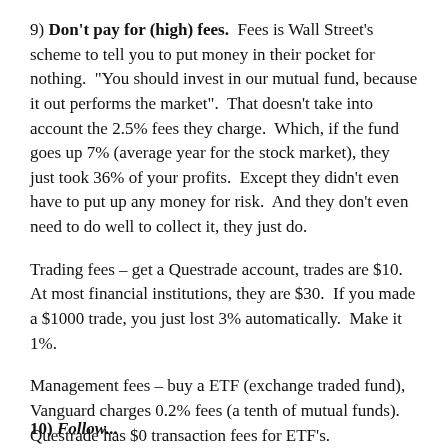9) Don't pay for (high) fees. Fees is Wall Street's scheme to tell you to put money in their pocket for nothing. "You should invest in our mutual fund, because it out performs the market". That doesn't take into account the 2.5% fees they charge. Which, if the fund goes up 7% (average year for the stock market), they just took 36% of your profits. Except they didn't even have to put up any money for risk. And they don't even need to do well to collect it, they just do.
Trading fees – get a Questrade account, trades are $10. At most financial institutions, they are $30. If you made a $1000 trade, you just lost 3% automatically. Make it 1%.
Management fees – buy a ETF (exchange traded fund), Vanguard charges 0.2% fees (a tenth of mutual funds). Questrade has $0 transaction fees for ETF's.
10) Follow...